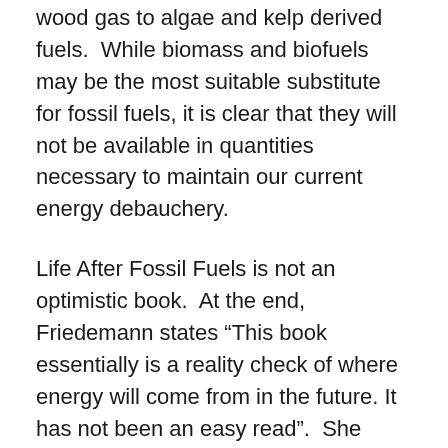wood gas to algae and kelp derived fuels.  While biomass and biofuels may be the most suitable substitute for fossil fuels, it is clear that they will not be available in quantities necessary to maintain our current energy debauchery.
Life After Fossil Fuels is not an optimistic book.  At the end, Friedemann states “This book essentially is a reality check of where energy will come from in the future. It has not been an easy read”.  She concludes that “The best way to manage our energy decline is to accept its inevitability and to embrace the challenge of transitioning to a simpler world”, suggesting that one of the few up sides may be that reduced supplies of fossil fuels will pull us back from the most pessimistic predictions of greenhouse gas emissions.  Freidemann makes her case well, supporting each chapter with numerous references. Whether or not you share her pessimism, her message is